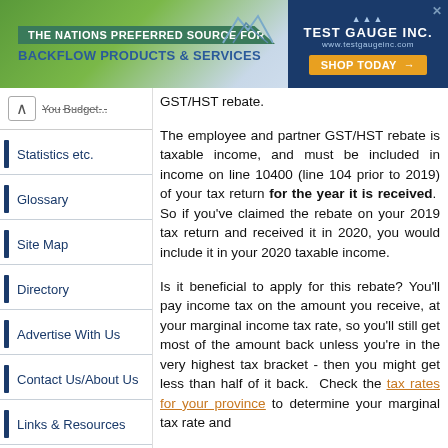[Figure (other): Advertisement banner for Test Gauge Inc. — backflow products and services, with 'Shop Today' button]
Statistics etc.
Glossary
Site Map
Directory
Advertise With Us
Contact Us/About Us
Links & Resources
GST/HST rebate.
The employee and partner GST/HST rebate is taxable income, and must be included in income on line 10400 (line 104 prior to 2019) of your tax return for the year it is received. So if you've claimed the rebate on your 2019 tax return and received it in 2020, you would include it in your 2020 taxable income.
Is it beneficial to apply for this rebate? You'll pay income tax on the amount you receive, at your marginal income tax rate, so you'll still get most of the amount back unless you're in the very highest tax bracket - then you might get less than half of it back. Check the tax rates for your province to determine your marginal tax rate and